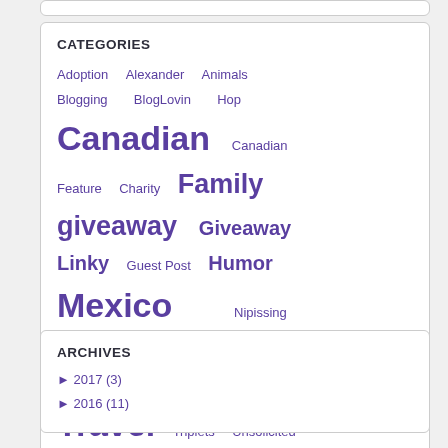CATEGORIES
Adoption  Alexander  Animals  Blogging  BlogLovin Hop  Canadian  Canadian Feature  Charity  Family  giveaway  Giveaway Linky  Guest Post  Humor  Mexico  Nipissing Developmental Checklist  Other  Ottawa  review  Summer  Travel  Triplets  Unsolicited  Wordless Wednesday
ARCHIVES
► 2017 (3)
► 2016 (11)